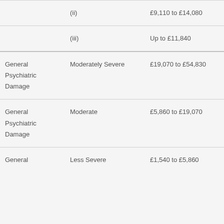| Category | Severity | Amount |
| --- | --- | --- |
|  | (ii) | £9,110 to £14,080 |
|  | (iii) | Up to £11,840 |
| General Psychiatric Damage | Moderately Severe | £19,070 to £54,830 |
| General Psychiatric Damage | Moderate | £5,860 to £19,070 |
| General | Less Severe | £1,540 to £5,860 |